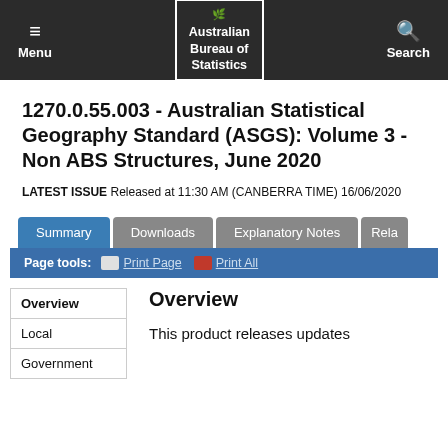Menu | Australian Bureau of Statistics | Search
1270.0.55.003 - Australian Statistical Geography Standard (ASGS): Volume 3 - Non ABS Structures, June 2020
LATEST ISSUE Released at 11:30 AM (CANBERRA TIME) 16/06/2020
Summary | Downloads | Explanatory Notes | Rela
Page tools: Print Page  Print All
Overview
Overview
Local
Government
This product releases updates